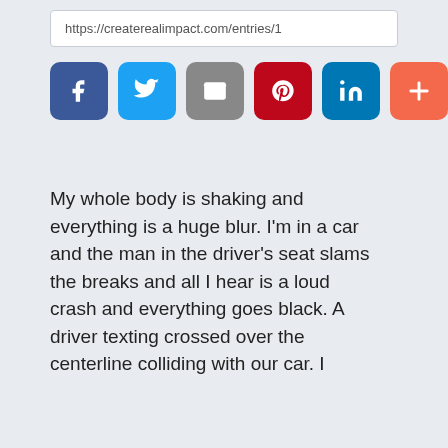https://createrealimpact.com/entries/1
[Figure (infographic): Row of six social share buttons: Facebook (dark blue), Twitter (light blue), Email (gray), Pinterest (dark red), LinkedIn (dark teal), More/Plus (orange-red)]
My whole body is shaking and everything is a huge blur. I'm in a car and the man in the driver's seat slams the breaks and all I hear is a loud crash and everything goes black. A driver texting crossed over the centerline colliding with our car. I